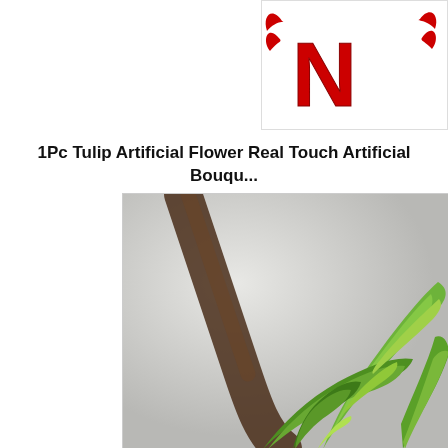[Figure (logo): Red bold letter 'N' with wings/decorative elements forming a logo, partially cropped at top-right]
1Pc Tulip Artificial Flower Real Touch Artificial Bouqu... Garden...
[Figure (photo): Close-up photograph of green tulip buds and leaves with a blurred brown stem in the background]